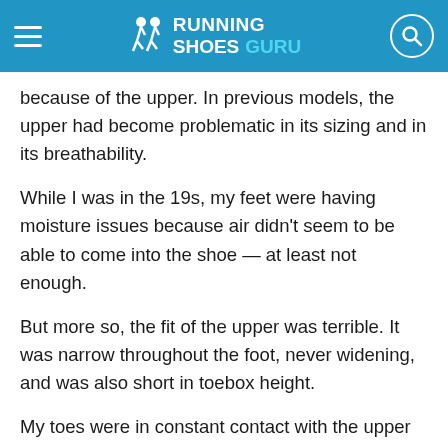Running Shoes Guru
because of the upper. In previous models, the upper had become problematic in its sizing and in its breathability.
While I was in the 19s, my feet were having moisture issues because air didn’t seem to be able to come into the shoe — at least not enough.
But more so, the fit of the upper was terrible. It was narrow throughout the foot, never widening, and was also short in toebox height.
My toes were in constant contact with the upper material, and this made for truly uncomfortable rides. Although I wear a size 13 shoe, I do not have particularly large feet for that size.